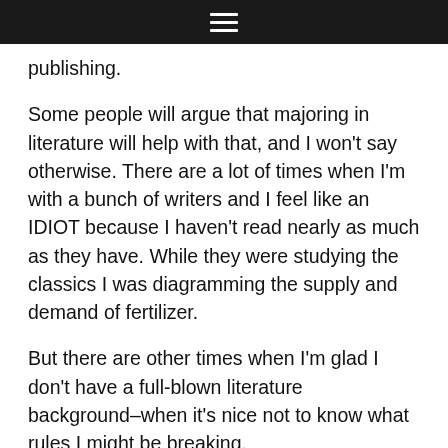≡
publishing.
Some people will argue that majoring in literature will help with that, and I won't say otherwise. There are a lot of times when I'm with a bunch of writers and I feel like an IDIOT because I haven't read nearly as much as they have. While they were studying the classics I was diagramming the supply and demand of fertilizer.
But there are other times when I'm glad I don't have a full-blown literature background–when it's nice not to know what rules I might be breaking.
I'd say find a major that makes you excited to